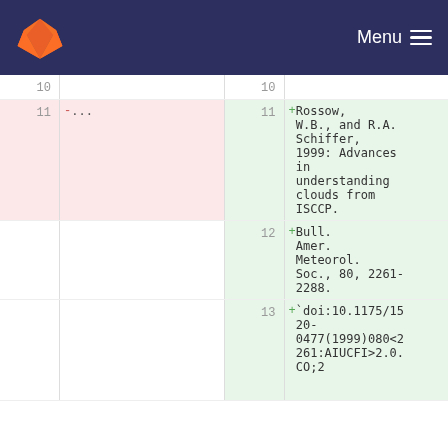Menu
| Old line | Old content | New line | New content |
| --- | --- | --- | --- |
| 10 |  | 10 |  |
| 11 | - ... | 11 | + Rossow, W.B., and R.A. Schiffer, 1999: Advances in understanding clouds from ISCCP. |
|  |  | 12 | + Bull. Amer. Meteorol. Soc., 80, 2261-2288. |
|  |  | 13 | + `doi:10.1175/1520-0477(1999)080<2261:AIUCFI>2.0.CO;2 |